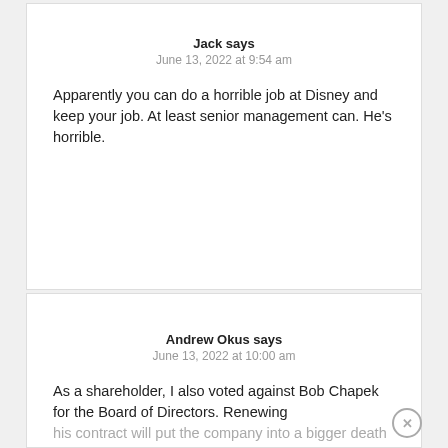Jack says
June 13, 2022 at 9:54 am
Apparently you can do a horrible job at Disney and keep your job. At least senior management can. He’s horrible.
Andrew Okus says
June 13, 2022 at 10:00 am
As a shareholder, I also voted against Bob Chapek for the Board of Directors. Renewing his contract will put the company into a bigger death spiral than it currently is in. What is the BoD thinking? For the good of the